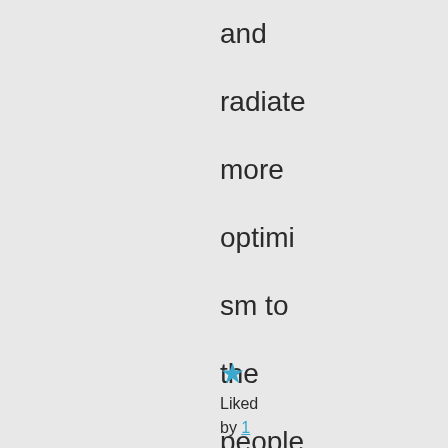and radiate more optimism to the people u r at home with.. Love Supreet
★ Liked by 1 person